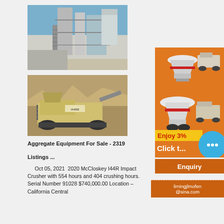[Figure (photo): Industrial aggregate plant with metal structure, stairs, and silos against blue sky]
[Figure (photo): McCloskey I44R mobile impact crusher on tracks at a quarry site]
Aggregate Equipment For Sale - 2319
Listings ...
Oct 05, 2021  2020 McCloskey I44R Impact Crusher with 554 hours and 404 crushing hours. Serial Number 91028 $740,000.00 Location – California Central
[Figure (illustration): Orange advertisement banner showing mining/crushing equipment and text 'Enjoy 3%' and 'Click to...' with chat bubble icon]
Enquiry
limingjlmofen@sina.com